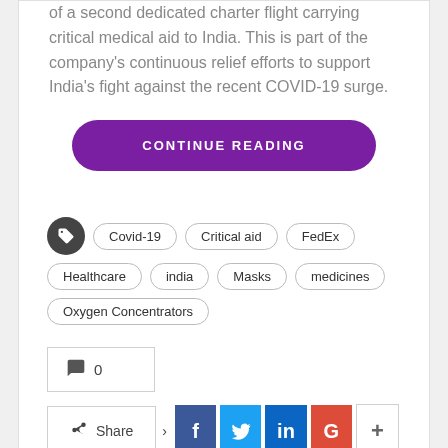of a second dedicated charter flight carrying critical medical aid to India. This is part of the company's continuous relief efforts to support India's fight against the recent COVID-19 surge.
CONTINUE READING
Covid-19, Critical aid, FedEx, Healthcare, india, Masks, medicines, Oxygen Concentrators
💬 0
Share
Team Suburb